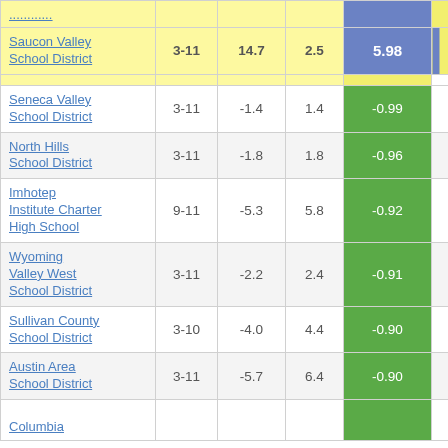| School District | Grades | Col3 | Col4 | Score |  |
| --- | --- | --- | --- | --- | --- |
| (partial row above) |  |  |  |  |  |
| Saucon Valley School District | 3-11 | 14.7 | 2.5 | 5.98 |  |
| (partial yellow row) |  |  |  |  |  |
| Seneca Valley School District | 3-11 | -1.4 | 1.4 | -0.99 |  |
| North Hills School District | 3-11 | -1.8 | 1.8 | -0.96 |  |
| Imhotep Institute Charter High School | 9-11 | -5.3 | 5.8 | -0.92 |  |
| Wyoming Valley West School District | 3-11 | -2.2 | 2.4 | -0.91 |  |
| Sullivan County School District | 3-10 | -4.0 | 4.4 | -0.90 |  |
| Austin Area School District | 3-11 | -5.7 | 6.4 | -0.90 |  |
| Columbia |  |  |  |  |  |